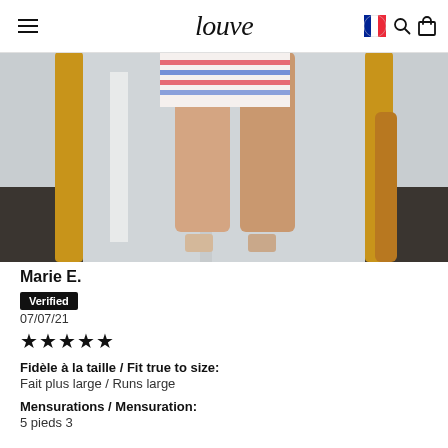louve
[Figure (photo): Photo of a person's legs wearing a striped mini dress, standing in front of a wooden mirror frame on a dark tile floor.]
Marie E.
Verified
07/07/21
★★★★★
Fidèle à la taille / Fit true to size:
Fait plus large / Runs large
Mensurations / Mensuration:
5 pieds 3